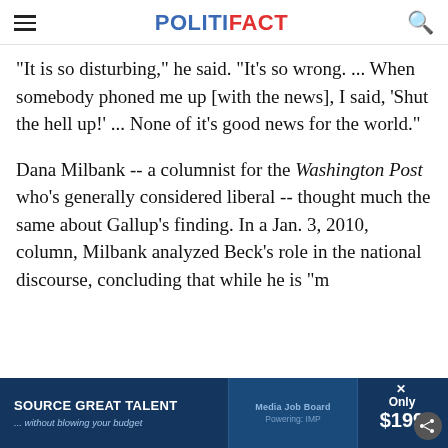POLITIFACT
"It is so disturbing," he said. "It's so wrong. ... When somebody phoned me up [with the news], I said, 'Shut the hell up!' ... None of it's good news for the world."
Dana Milbank -- a columnist for the Washington Post who's generally considered liberal -- thought much the same about Gallup's finding. In a Jan. 3, 2010, column, Milbank analyzed Beck's role in the national discourse, concluding that while he is "m...
[Figure (screenshot): Advertisement bar at bottom: 'SOURCE GREAT TALENT ... without blowing your budget' with Media Job Board logo and 'Only $199' price. Dark blue background.]